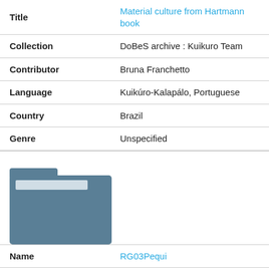| Field | Value |
| --- | --- |
| Title | Material culture from Hartmann book |
| Collection | DoBeS archive : Kuikuro Team |
| Contributor | Bruna Franchetto |
| Language | Kuikúro-Kalapálo, Portuguese |
| Country | Brazil |
| Genre | Unspecified |
[Figure (illustration): Folder icon in blue-gray color representing a directory or archive]
| Field | Value |
| --- | --- |
| Name | RG03Pequi |
| Title | Conversation about the fruit Pequi |
| Collection | DoBeS archive : Trumai |
| Contributor | Raquel Guirardello-Damian |
| Language | Trumaí |
| Country | Brazil |